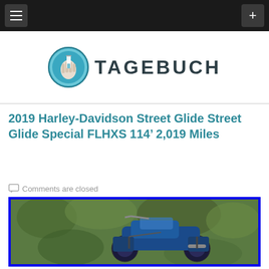Navigation bar with menu and add buttons
[Figure (logo): Tagebuch logo: circular icon with hand holding a test tube, teal/blue color, beside the text TAGEBUCH in large dark teal letters]
2019 Harley-Davidson Street Glide Street Glide Special FLHXS 114’ 2,019 Miles
Comments are closed
[Figure (photo): Photo of a blue Harley-Davidson motorcycle outdoors with green foliage in the background, framed with a blue border]